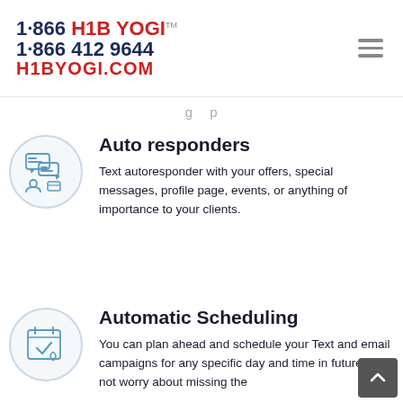1·866 H1B YOGI™ 1·866 412 9644 H1BYOGI.COM
g p
Auto responders
Text autoresponder with your offers, special messages, profile page, events, or anything of importance to your clients.
[Figure (illustration): Circle icon with chat bubbles and a person silhouette representing auto-responders]
Automatic Scheduling
You can plan ahead and schedule your Text and email campaigns for any specific day and time in future and not worry about missing the
[Figure (illustration): Circle icon with calendar and checkmark representing automatic scheduling]